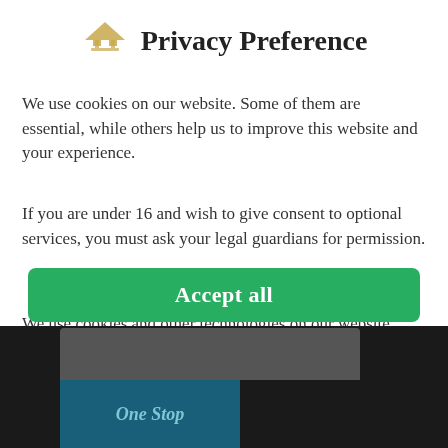Privacy Preference
We use cookies on our website. Some of them are essential, while others help us to improve this website and your experience.
If you are under 16 and wish to give consent to optional services, you must ask your legal guardians for permission.
We use cookies and other technologies on our website. Some of them are essential, while others help us to improve this website and your experience. Personal data may be processed (e.g. IP addresses), for example for personalized ads and content or ad and content
Essential
External Media
Accept all
[Figure (screenshot): Bottom dark background with gray bar and One Stop logo in blue box]